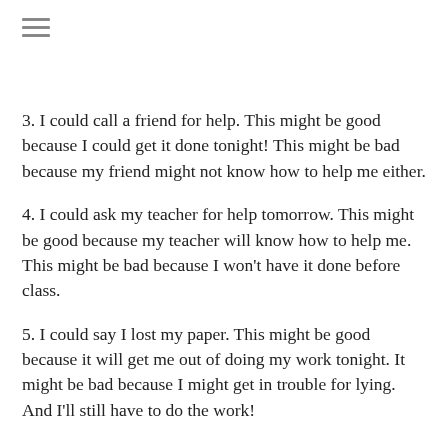≡
3. I could call a friend for help. This might be good because I could get it done tonight! This might be bad because my friend might not know how to help me either.
4. I could ask my teacher for help tomorrow. This might be good because my teacher will know how to help me. This might be bad because I won't have it done before class.
5. I could say I lost my paper. This might be good because it will get me out of doing my work tonight. It might be bad because I might get in trouble for lying. And I'll still have to do the work!